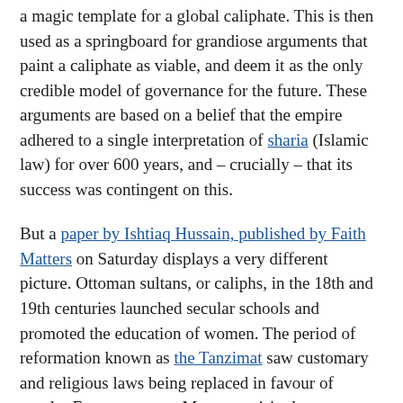a magic template for a global caliphate. This is then used as a springboard for grandiose arguments that paint a caliphate as viable, and deem it as the only credible model of governance for the future. These arguments are based on a belief that the empire adhered to a single interpretation of sharia (Islamic law) for over 600 years, and – crucially – that its success was contingent on this.
But a paper by Ishtiaq Hussain, published by Faith Matters on Saturday displays a very different picture. Ottoman sultans, or caliphs, in the 18th and 19th centuries launched secular schools and promoted the education of women. The period of reformation known as the Tanzimat saw customary and religious laws being replaced in favour of secular European ones. More surprisingly, homosexuality was decriminalised in 1858 (long before many western states took their cue, and over a century before the American Psychiatric Association declassified it as a mental illness in 1973). Contrary to the claims of hardline conservative religious authorities, great